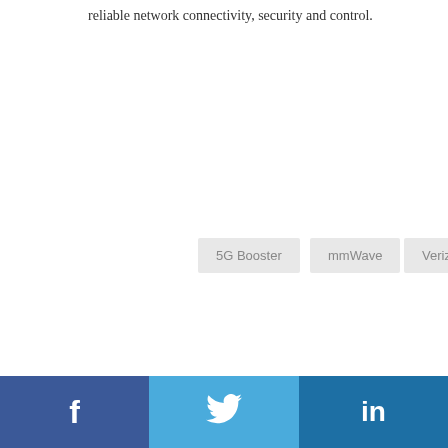reliable network connectivity, security and control.
5G Booster
mmWave
Verizon
[Figure (other): Horizontal divider line with orange dot in center]
PREVIOUS POST
Are Cell Signal Boosters Secure?
NEXT POST
Verizon Deploys SureCall Network Repeaters
Facebook | Twitter | LinkedIn social share buttons